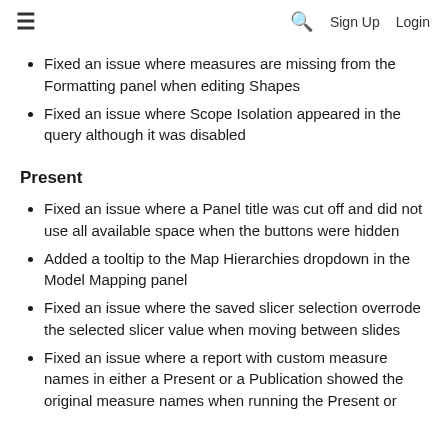≡  🔍  Sign Up  Login
Fixed an issue where measures are missing from the Formatting panel when editing Shapes
Fixed an issue where Scope Isolation appeared in the query although it was disabled
Present
Fixed an issue where a Panel title was cut off and did not use all available space when the buttons were hidden
Added a tooltip to the Map Hierarchies dropdown in the Model Mapping panel
Fixed an issue where the saved slicer selection overrode the selected slicer value when moving between slides
Fixed an issue where a report with custom measure names in either a Present or a Publication showed the original measure names when running the Present or